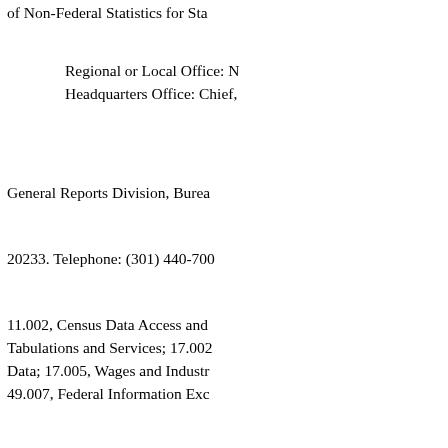of Non-Federal Statistics for Sta
Regional or Local Office: N
Headquarters Office: Chief,
General Reports Division, Burea
20233. Telephone: (301) 440-700
11.002, Census Data Access and Tabulations and Services; 17.002 Data; 17.005, Wages and Industr 49.007, Federal Information Exc
11.005 CENSUS SPECIAL TA
FEDERAL AGENCY: BUREAU
OF COMMERCE AUTHORIZ maintain data files which can be processed to provide special tabu available include maps, summary special products resulting from th a
reimbursable basis. TYPES OF A RESTRICTIONS: All special tab